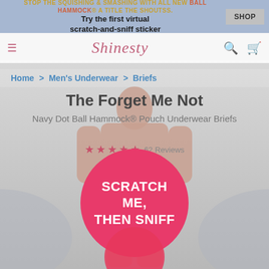STOP THE SQUISHING & SMASHING WITH ALL NEW BALL HAMMOCK® A TITLE THE SHOUTSS.
Try the first virtual scratch-and-sniff sticker
SHOP
[Figure (screenshot): Shinesty logo in pink italic script font with hamburger menu, search icon, and cart icon navigation bar]
Home > Men's Underwear > Briefs
The Forget Me Not
Navy Dot Ball Hammock® Pouch Underwear Briefs
★★★★★ 62 Reviews
[Figure (photo): Pink circle button overlay with white bold text reading SCRATCH ME, THEN SNIFF on a product page showing rear view of man wearing navy dot brief underwear]
[Figure (photo): Partial pink circle visible at bottom of page]